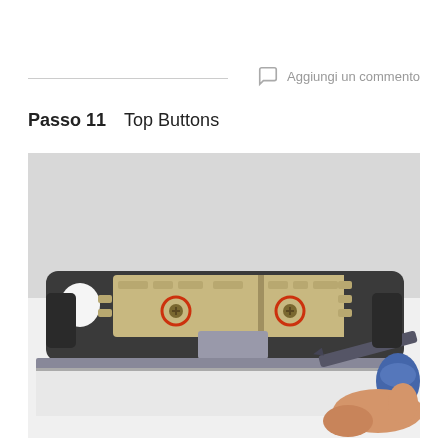Aggiungi un commento
Passo 11    Top Buttons
[Figure (photo): Close-up photo of the top edge of a device being repaired. The device interior shows a button assembly with two highlighted screws (circled in red/orange). A screwdriver tool is being inserted from the right side by a hand. The device casing is dark grey/black plastic.]